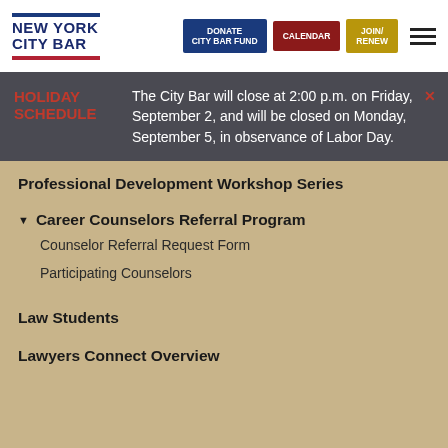NEW YORK CITY BAR | DONATE CITY BAR FUND | CALENDAR | JOIN/RENEW
HOLIDAY SCHEDULE — The City Bar will close at 2:00 p.m. on Friday, September 2, and will be closed on Monday, September 5, in observance of Labor Day.
Professional Development Workshop Series
Career Counselors Referral Program
Counselor Referral Request Form
Participating Counselors
Law Students
Lawyers Connect Overview